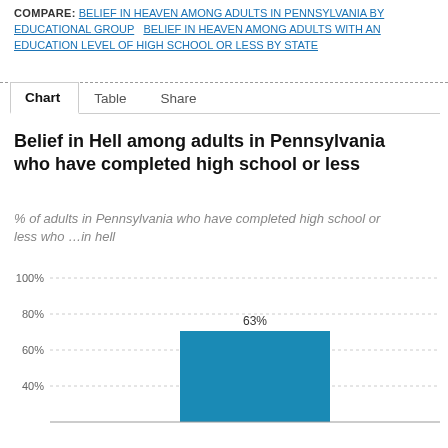COMPARE: BELIEF IN HEAVEN AMONG ADULTS IN PENNSYLVANIA BY EDUCATIONAL GROUP   BELIEF IN HEAVEN AMONG ADULTS WITH AN EDUCATION LEVEL OF HIGH SCHOOL OR LESS BY STATE
Chart   Table   Share
Belief in Hell among adults in Pennsylvania who have completed high school or less
% of adults in Pennsylvania who have completed high school or less who …in hell
[Figure (bar-chart): Belief in Hell among adults in Pennsylvania who have completed high school or less]